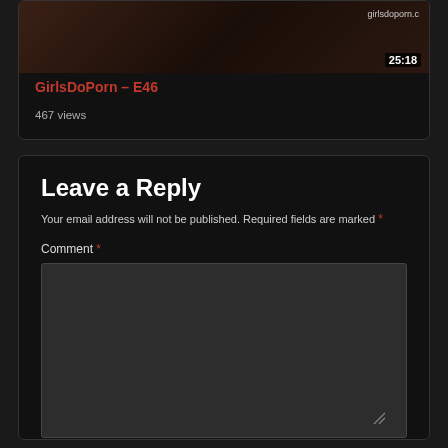[Figure (screenshot): Video thumbnail showing partial image with watermark 'girlsdoporn.c' and duration '25:18']
GirlsDoPorn – E46
467 views
Leave a Reply
Your email address will not be published. Required fields are marked *
Comment *